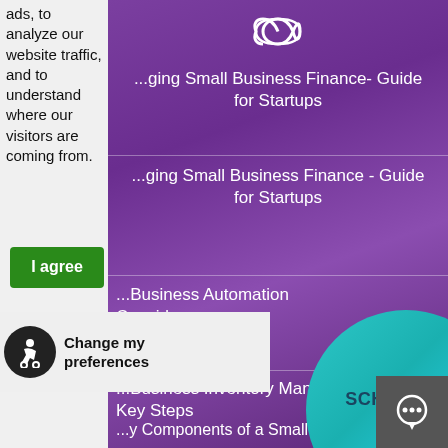ads, to analyze our website traffic, and to understand where our visitors are coming from.
I agree
Change my preferences
[Figure (logo): Infinity symbol in white on purple background]
...ging Small Business Finance- Guide for Startups
...ging Small Business Finance - Guide for Startups
...Business Automation Consider
...Business Inventory Man... Key Steps
...y Components of a Small Business...
SCHEDULE A DEMO